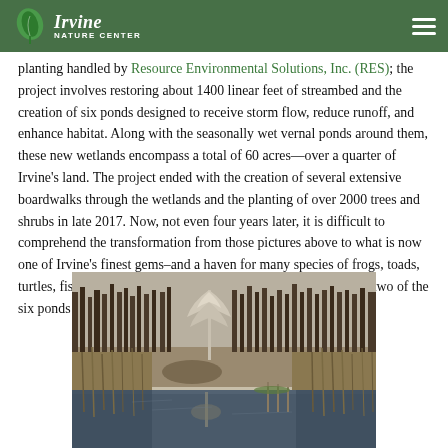Irvine Nature Center navigation bar with logo
planting handled by Resource Environmental Solutions, Inc. (RES); the project involves restoring about 1400 linear feet of streambed and the creation of six ponds designed to receive storm flow, reduce runoff, and enhance habitat. Along with the seasonally wet vernal ponds around them, these new wetlands encompass a total of 60 acres—over a quarter of Irvine's land. The project ended with the creation of several extensive boardwalks through the wetlands and the planting of over 2000 trees and shrubs in late 2017. Now, not even four years later, it is difficult to comprehend the transformation from those pictures above to what is now one of Irvine's finest gems–and a haven for many species of frogs, toads, turtles, fish, dragonflies, and more. Below are late-day views of two of the six ponds taken just this week:
[Figure (photo): Late-day view of one of the six ponds at Irvine Nature Center, showing a wetland landscape with bare trees, tall dry grasses/reeds, and calm water reflecting the trees and a white-branched tree in the center.]